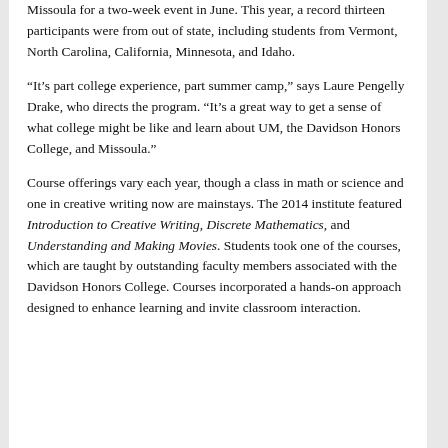Missoula for a two-week event in June. This year, a record thirteen participants were from out of state, including students from Vermont, North Carolina, California, Minnesota, and Idaho.
“It’s part college experience, part summer camp,” says Laure Pengelly Drake, who directs the program. “It’s a great way to get a sense of what college might be like and learn about UM, the Davidson Honors College, and Missoula.”
Course offerings vary each year, though a class in math or science and one in creative writing now are mainstays. The 2014 institute featured Introduction to Creative Writing, Discrete Mathematics, and Understanding and Making Movies. Students took one of the courses, which are taught by outstanding faculty members associated with the Davidson Honors College. Courses incorporated a hands-on approach designed to enhance learning and invite classroom interaction.